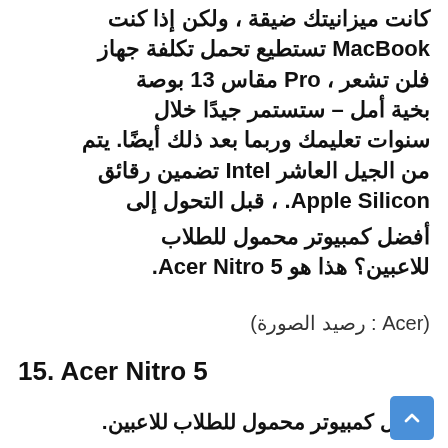كانت ميزانيتك ضيقة ، ولكن إذا كنت MacBook تستطيع تحمل تكلفة جهاز فلن تشعر ، Pro مقاس 13 بوصة بخية أمل – ستستمر جيدًا خلال سنوات تعليمك وربما بعد ذلك أيضًا. يتم من الجيل العاشر Intel تضمين رقائق Apple Silicon. ، قبل التحول إلى
أفضل كمبيوتر محمول للطلاب للاعبين؟ هذا هو Acer Nitro 5.
(Acer : رصيد الصورة)
15. Acer Nitro 5
أفضل كمبيوتر محمول للطلاب للاعبين.